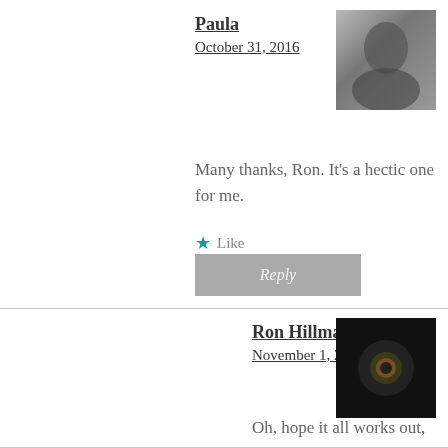Paula
October 31, 2016
Many thanks, Ron. It's a hectic one for me.
Like
Reply
[Figure (photo): Avatar photo of Paula - black and white image]
Ron Hillmar
November 1, 2016
Oh, hope it all works out, take care!
Liked by 1 person
Reply
[Figure (photo): Avatar photo of Ron Hillmar - dark image with face]